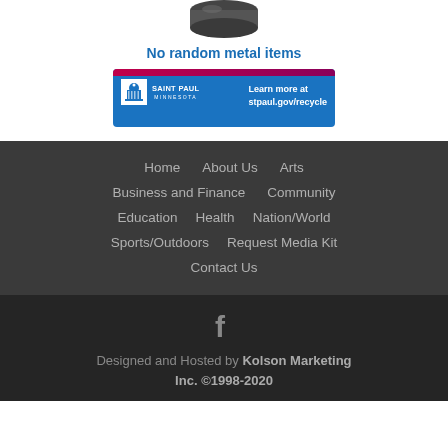[Figure (illustration): Bottom portion of a circular metal item / metal lid icon shown at top, partially cropped]
No random metal items
[Figure (infographic): Saint Paul Minnesota banner with logo and text 'Learn more at stpaul.gov/recycle']
Home
About Us
Arts
Business and Finance
Community
Education
Health
Nation/World
Sports/Outdoors
Request Media Kit
Contact Us
Designed and Hosted by Kolson Marketing Inc. ©1998-2020